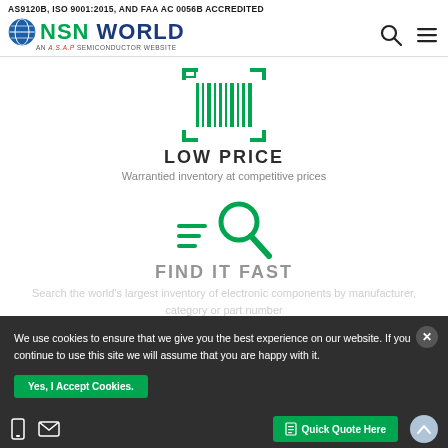AS9120B, ISO 9001:2015, AND FAA AC 0056B ACCREDITED
[Figure (logo): NSN World logo - globe icon with NSN WORLD text and AN A.S.A.P SEMICONDUCTOR WEBSITE subtitle]
[Figure (other): Barcode scanner icon in green]
LOW PRICE
Warrantied inventory at competitive prices
[Figure (other): Search/magnifying glass icon in green]
FIND IT FAST
Search the world's largest inventory of electronic components by manufacturer, category or part number
We use cookies to ensure that we give you the best experience on our website. If you continue to use this site we will assume that you are happy with it.
Yes, I Accept Cookies.
Quick Quote Here